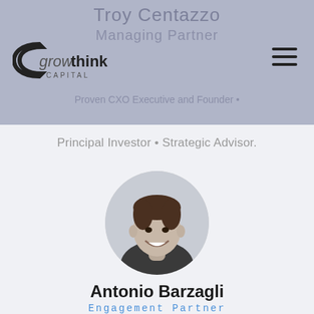Troy Centazzo
Managing Partner
Proven CXO Executive and Founder • Principal Investor • Strategic Advisor.
[Figure (logo): Growthink Capital logo with stylized 'C' arc and bold/italic lettering]
[Figure (photo): Circular black and white portrait photo of Antonio Barzagli, smiling man]
Antonio Barzagli
Engagement Partner
Specializing in intelligent strategic planning, agile plan execution, and raising capital in support of that plan.